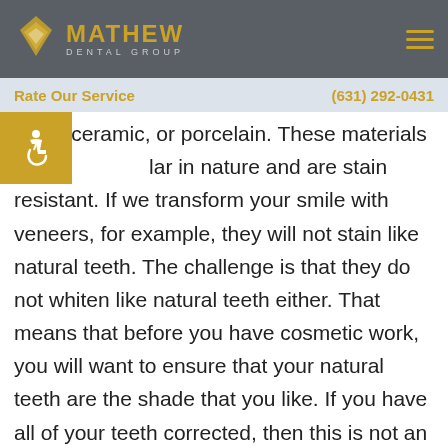MATHEW DENTAL GROUP
Rate Our Service   (631) 292-0431
resin, ceramic, or porcelain. These materials are all similar in nature and are stain resistant. If we transform your smile with veneers, for example, they will not stain like natural teeth. The challenge is that they do not whiten like natural teeth either. That means that before you have cosmetic work, you will want to ensure that your natural teeth are the shade that you like. If you have all of your teeth corrected, then this is not an issue. If, however, you are only focusing on one or two teeth, they will be made to match your surrounding teeth. If you do not like their color, then you may want to wait. It will also be worth it